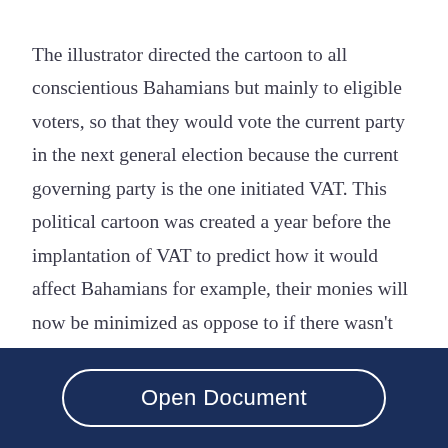The illustrator directed the cartoon to all conscientious Bahamians but mainly to eligible voters, so that they would vote the current party in the next general election because the current governing party is the one initiated VAT. This political cartoon was created a year before the implantation of VAT to predict how it would affect Bahamians for example, their monies will now be minimized as oppose to if there wasn't VAT. The
Open Document